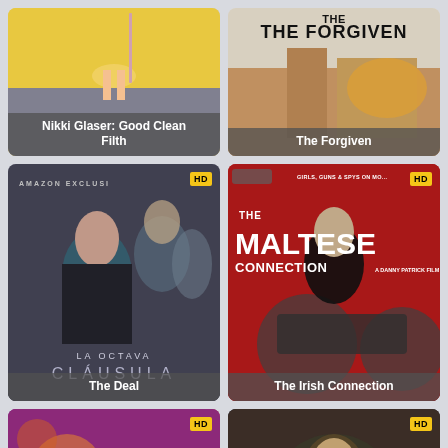[Figure (screenshot): Movie poster thumbnail for 'Nikki Glaser: Good Clean Filth' - yellow and grey background with figure]
[Figure (screenshot): Movie poster thumbnail for 'The Forgiven' - action explosion scene with large title text]
[Figure (screenshot): Movie poster for 'The Deal' (La Octava Clausula) - Amazon Exclusive, dark dramatic thriller with HD badge]
[Figure (screenshot): Movie poster for 'The Irish Connection' (The Maltese Connection) - red action poster with motorcycle and HD badge]
[Figure (screenshot): Movie poster thumbnail - colorful kids/family movie with HD badge, bottom left]
[Figure (screenshot): Movie poster thumbnail - dark atmospheric with HD badge, bottom right]